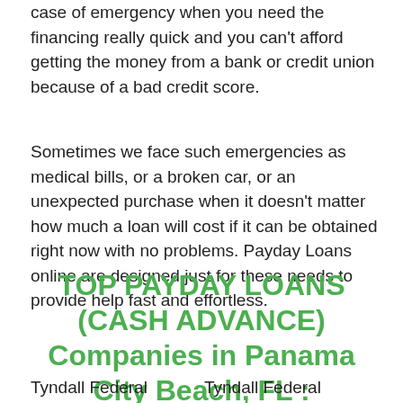case of emergency when you need the financing really quick and you can't afford getting the money from a bank or credit union because of a bad credit score.
Sometimes we face such emergencies as medical bills, or a broken car, or an unexpected purchase when it doesn't matter how much a loan will cost if it can be obtained right now with no problems. Payday Loans online are designed just for these needs to provide help fast and effortless.
TOP PAYDAY LOANS (CASH ADVANCE) Companies in Panama City Beach, FL :
Tyndall Federal       Tyndall Federal